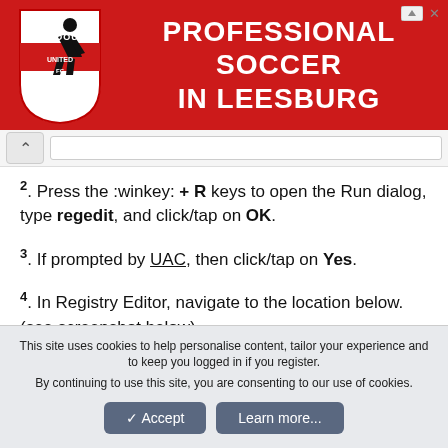[Figure (other): Red advertisement banner for Loudoun Soccer - Professional Soccer in Leesburg, with shield logo on left and ad controls top right]
[Figure (screenshot): Browser navigation bar with back button and address input field]
2. Press the :winkey: + R keys to open the Run dialog, type regedit, and click/tap on OK.
3. If prompted by UAC, then click/tap on Yes.
4. In Registry Editor, navigate to the location below. (see screenshot below)
This site uses cookies to help personalise content, tailor your experience and to keep you logged in if you register.
By continuing to use this site, you are consenting to our use of cookies.